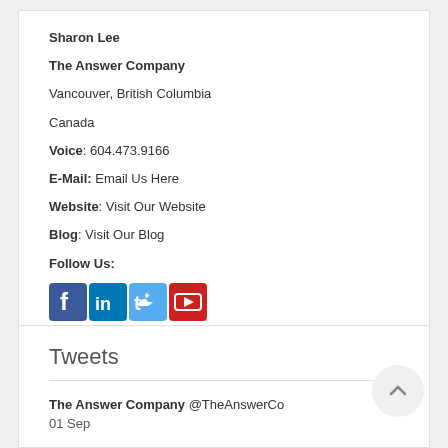Sharon Lee
The Answer Company
Vancouver, British Columbia
Canada
Voice: 604.473.9166
E-Mail: Email Us Here
Website: Visit Our Website
Blog: Visit Our Blog
Follow Us:
[Figure (illustration): Social media icons: Facebook, LinkedIn, Twitter, YouTube]
Tweets
The Answer Company @TheAnswerCo
01 Sep